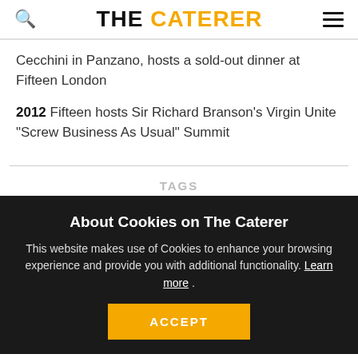THE CATERER
Cecchini in Panzano, hosts a sold-out dinner at Fifteen London
2012 Fifteen hosts Sir Richard Branson's Virgin Unite "Screw Business As Usual" Summit
TAGS
About Cookies on The Caterer
This website makes use of Cookies to enhance your browsing experience and provide you with additional functionality. Learn more .
ACCEPT